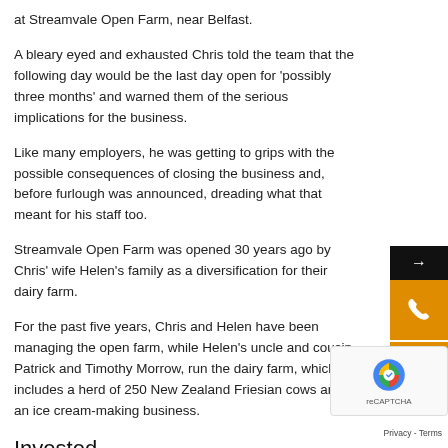at Streamvale Open Farm, near Belfast.
A bleary eyed and exhausted Chris told the team that the following day would be the last day open for 'possibly three months' and warned them of the serious implications for the business.
Like many employers, he was getting to grips with the possible consequences of closing the business and, before furlough was announced, dreading what that meant for his staff too.
Streamvale Open Farm was opened 30 years ago by Chris' wife Helen's family as a diversification for their dairy farm.
For the past five years, Chris and Helen have been managing the open farm, while Helen's uncle and cousin, Patrick and Timothy Morrow, run the dairy farm, which includes a herd of 250 New Zealand Friesian cows and an ice cream-making business.
Invested
Chris says: "In the last four years we have invested a lot and expanded the visitor attraction, taking visitor numbers from 5 to 150,000 annually. It was going really well until Covid-19."
The open farm is always closed for the first two months of the